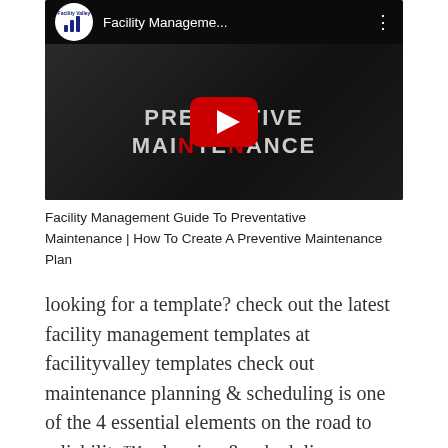[Figure (screenshot): YouTube video thumbnail for 'Facility Management Guide To Preventative Maintenance | How To Create A Preventive Maintenance Plan'. Shows a dark background with 'PREVENTIVE MAINTENANCE' text and a red YouTube play button in the center. Channel logo (Facility Valley) shown in top-left with dots menu top-right.]
Facility Management Guide To Preventative Maintenance | How To Create A Preventive Maintenance Plan
looking for a template? check out the latest facility management templates at facilityvalley templates check out maintenance planning & scheduling is one of the 4 essential elements on the road to reliability™. planning & scheduling, or finding the right fit for jobs is an extremely tough task, especially when it's for a job like a facilities maintenance manager. copyright